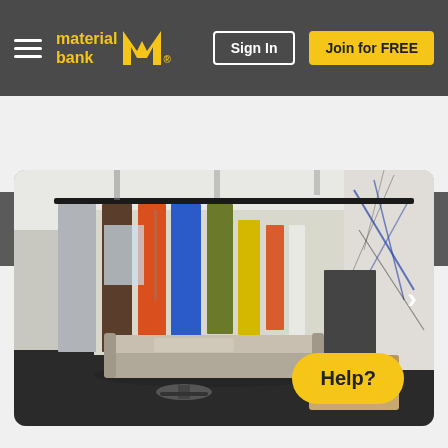material bank — Sign In — Join for FREE — Search
[Figure (photo): Interior photo of a modern office space with colorful partition panels hanging from a ceiling track rail. Panels include silver, brown, orange, blue, olive/green, yellow, and additional orange, white, and gray panels. A light gray modern sofa and small round table are visible in the foreground left. A wood-toned reception desk is visible at right. Background shows an abstract wall mural with dark branch-like lines on a white background.]
Help?